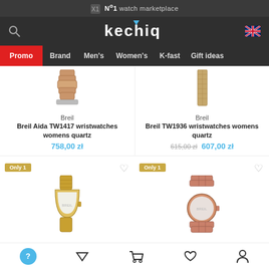No 1 watch marketplace
[Figure (screenshot): Kechiq watch marketplace website navigation with logo, search icon, UK flag, and menu items: Promo, Brand, Men's, Women's, K-fast, Gift ideas]
Breil
Breil Aida TW1417 wristwatches womens quartz
758,00 zł
Breil
Breil TW1936 wristwatches womens quartz
615,00 zł 607,00 zł
Only 1
[Figure (photo): Gold mesh strap wristwatch product image]
Only 1
[Figure (photo): Rose gold bracelet wristwatch product image]